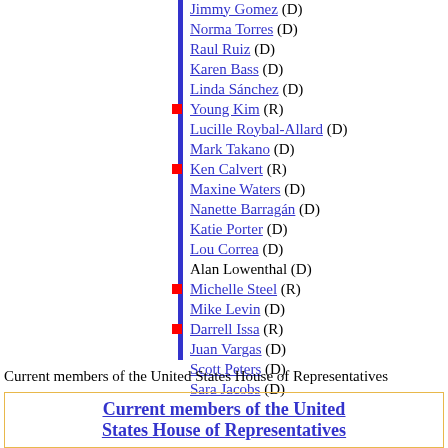Jimmy Gomez (D)
Norma Torres (D)
Raul Ruiz (D)
Karen Bass (D)
Linda Sánchez (D)
Young Kim (R)
Lucille Roybal-Allard (D)
Mark Takano (D)
Ken Calvert (R)
Maxine Waters (D)
Nanette Barragán (D)
Katie Porter (D)
Lou Correa (D)
Alan Lowenthal (D)
Michelle Steel (R)
Mike Levin (D)
Darrell Issa (R)
Juan Vargas (D)
Scott Peters (D)
Sara Jacobs (D)
Current members of the United States House of Representatives
Current members of the United States House of Representatives